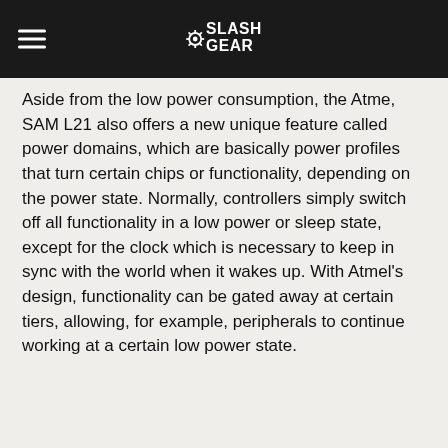SlashGear
Aside from the low power consumption, the Atme, SAM L21 also offers a new unique feature called power domains, which are basically power profiles that turn certain chips or functionality, depending on the power state. Normally, controllers simply switch off all functionality in a low power or sleep state, except for the clock which is necessary to keep in sync with the world when it wakes up. With Atmel's design, functionality can be gated away at certain tiers, allowing, for example, peripherals to continue working at a certain low power state.